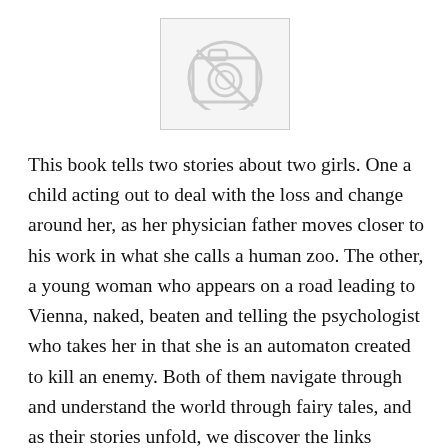[Figure (other): Placeholder image icon — a camera icon inside a circle with a diagonal line through it, inside a light grey rectangle with a thin border.]
This book tells two stories about two girls. One a child acting out to deal with the loss and change around her, as her physician father moves closer to his work in what she calls a human zoo. The other, a young woman who appears on a road leading to Vienna, naked, beaten and telling the psychologist who takes her in that she is an automaton created to kill an enemy. Both of them navigate through and understand the world through fairy tales, and as their stories unfold, we discover the links between th...